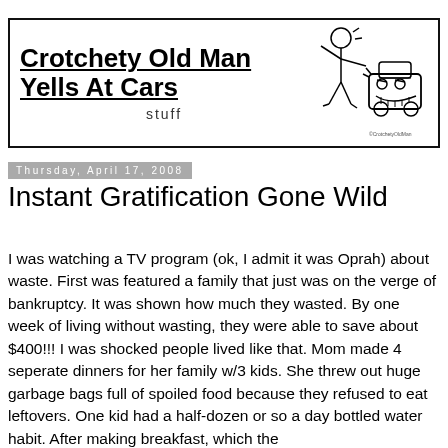[Figure (illustration): Blog header banner with title 'Crotchety Old Man Yells At Cars' underlined, subtitle 'stuff', and a cartoon illustration of a stick figure man yelling at an angry car.]
Thursday, April 17, 2008
Instant Gratification Gone Wild
I was watching a TV program (ok, I admit it was Oprah) about waste. First was featured a family that just was on the verge of bankruptcy. It was shown how much they wasted. By one week of living without wasting, they were able to save about $400!!! I was shocked people lived like that. Mom made 4 seperate dinners for her family w/3 kids. She threw out huge garbage bags full of spoiled food because they refused to eat leftovers. One kid had a half-dozen or so a day bottled water habit. After making breakfast, which the